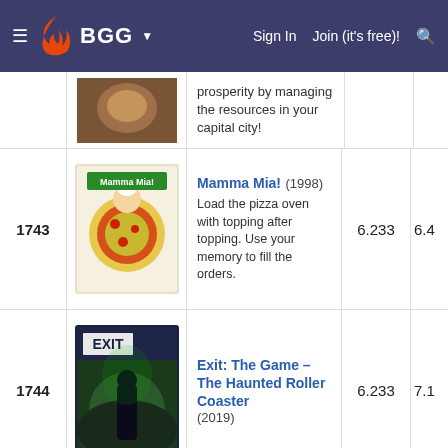BGG — Sign In  Join (it's free)!
| Rank | Image | Game | Score |  |
| --- | --- | --- | --- | --- |
|  |  | prosperity by managing the resources in your capital city! |  |  |
| 1743 | [Mamma Mia! image] | Mamma Mia! (1998) — Load the pizza oven with topping after topping. Use your memory to fill the orders. | 6.233 | 6.4 |
| 1744 | [Exit image] | Exit: The Game – The Haunted Roller Coaster (2019) | 6.233 | 7.1 |
| 1745 | [Memoarrr! image] | Memoarrr! (2017) — Recall the sequence, find the matches and grab the treasure! | 6.233 | 6.9 |
[Figure (screenshot): Kickstarter ad banner — Just launched on Kickstarter, Fantasy Last Legend board game promotional banner]